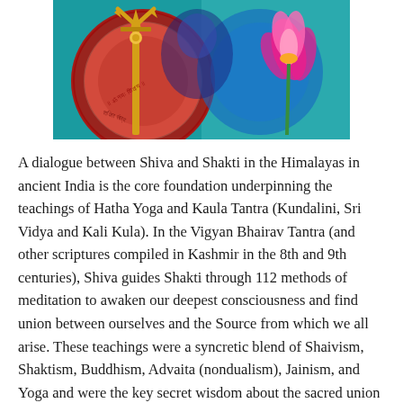[Figure (illustration): A colorful Hindu spiritual illustration showing a golden trident (trishula) on the left side with ornate red and blue mandala patterns, and a pink lotus flower on the right side, with divine blue figure in the center background.]
A dialogue between Shiva and Shakti in the Himalayas in ancient India is the core foundation underpinning the teachings of Hatha Yoga and Kaula Tantra (Kundalini, Sri Vidya and Kali Kula). In the Vigyan Bhairav Tantra (and other scriptures compiled in Kashmir in the 8th and 9th centuries), Shiva guides Shakti through 112 methods of meditation to awaken our deepest consciousness and find union between ourselves and the Source from which we all arise. These teachings were a syncretic blend of Shaivism, Shaktism, Buddhism, Advaita (nondualism), Jainism, and Yoga and were the key secret wisdom about the sacred union of Shiva and Shakti in our bodies and in every